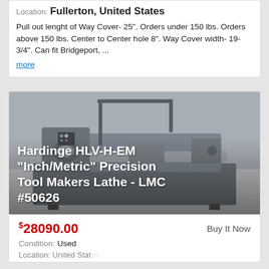Location: Fullerton, United States
Pull out lenght of Way Cover- 25". Orders under 150 lbs. Orders above 150 lbs. Center to Center hole 8". Way Cover width- 19-3/4". Can fit Bridgeport, ... more
[Figure (photo): Photo of a Hardinge HLV-H-EM Inch/Metric Precision Tool Makers Lathe, grey metal lathe on a cabinet stand, with overhead frame. Text overlay reads: Hardinge HLV-H-EM "Inch/Metric" Precision Tool Makers Lathe - LMC #50626]
$28090.00  Buy It Now
Condition: Used
Location: United States